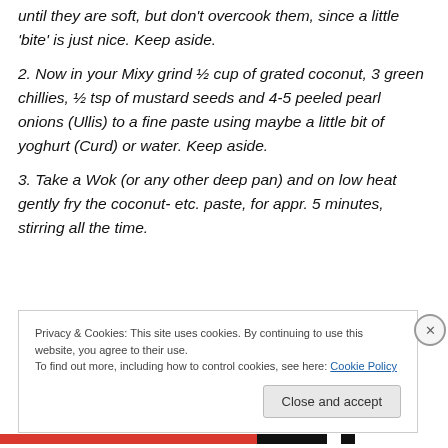until they are soft, but don't overcook them, since a little 'bite' is just nice. Keep aside.
2. Now in your Mixy grind ½ cup of grated coconut, 3 green chillies, ½ tsp of mustard seeds and 4-5 peeled pearl onions (Ullis) to a fine paste using maybe a little bit of yoghurt (Curd) or water. Keep aside.
3. Take a Wok (or any other deep pan) and on low heat gently fry the coconut- etc. paste, for appr. 5 minutes, stirring all the time.
Privacy & Cookies: This site uses cookies. By continuing to use this website, you agree to their use.
To find out more, including how to control cookies, see here: Cookie Policy